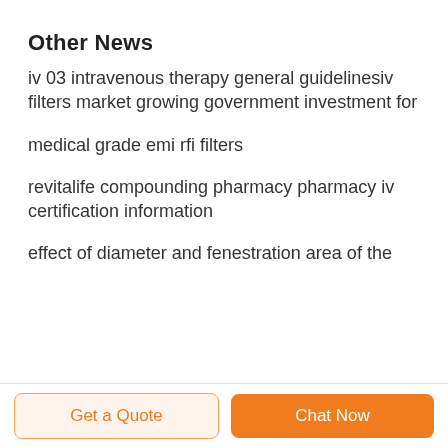Other News
iv 03 intravenous therapy general guidelinesiv filters market growing government investment for
medical grade emi rfi filters
revitalife compounding pharmacy pharmacy iv certification information
effect of diameter and fenestration area of the